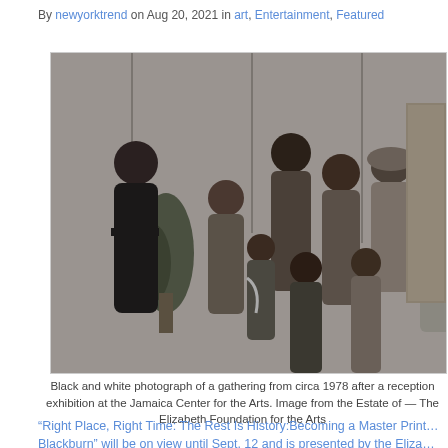By newyorktrend on Aug 20, 2021 in art, Entertainment, Featured
[Figure (photo): Black and white photograph of a group of people gathered at what appears to be a reception or exhibition event, circa 1978, at the Jamaica Center for the Arts.]
Black and white photograph of a gathering from circa 1978 after a reception exhibition at the Jamaica Center for the Arts. Image from the Estate of — The Elizabeth Foundation for the Arts
“Right Place, Right Time: The Rest Is History:Becoming a Master Printmaker with Robert Blackburn” will be on view until Sept. 12 and is presented by the Elizabeth Foundation for the Arts